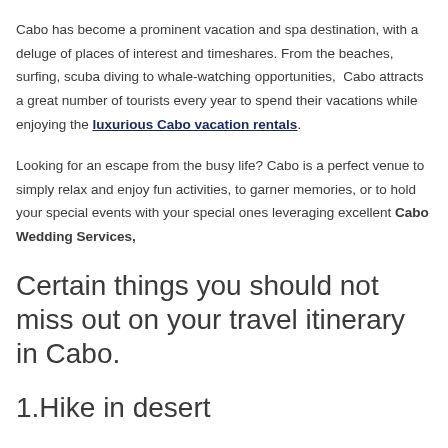Cabo has become a prominent vacation and spa destination, with a deluge of places of interest and timeshares. From the beaches, surfing, scuba diving to whale-watching opportunities,  Cabo attracts a great number of tourists every year to spend their vacations while enjoying the luxurious Cabo vacation rentals.
Looking for an escape from the busy life? Cabo is a perfect venue to simply relax and enjoy fun activities, to garner memories, or to hold your special events with your special ones leveraging excellent Cabo Wedding Services,
Certain things you should not miss out on your travel itinerary in Cabo.
1.Hike in desert